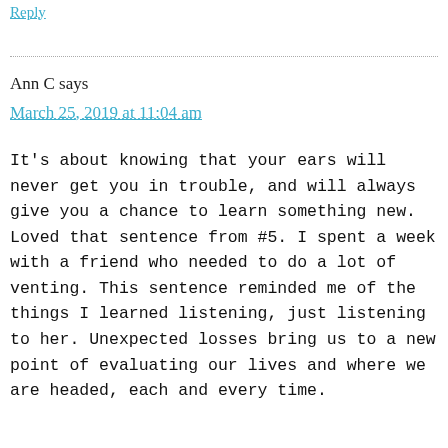Reply
Ann C says
March 25, 2019 at 11:04 am
It's about knowing that your ears will never get you in trouble, and will always give you a chance to learn something new. Loved that sentence from #5. I spent a week with a friend who needed to do a lot of venting. This sentence reminded me of the things I learned listening, just listening to her. Unexpected losses bring us to a new point of evaluating our lives and where we are headed, each and every time.